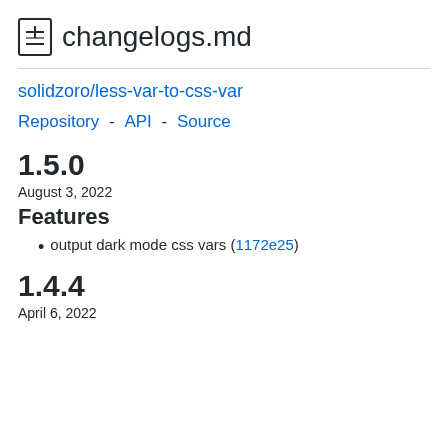changelogs.md
solidzoro/less-var-to-css-var
Repository - API - Source
1.5.0
August 3, 2022
Features
output dark mode css vars (1172e25)
1.4.4
April 6, 2022